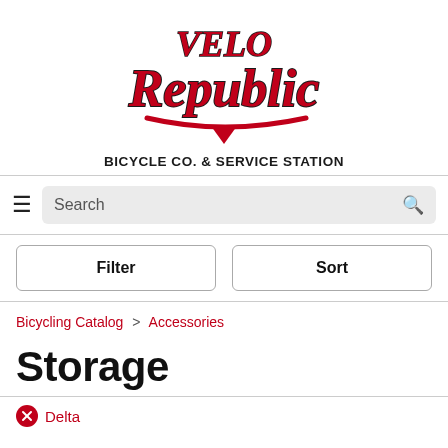[Figure (logo): Velo Republic Bicycle Co. & Service Station logo — red script lettering 'Velo Republic' with a red swoosh underline and bold black text 'BICYCLE CO. & SERVICE STATION' below]
Search
Filter    Sort
Bicycling Catalog > Accessories
Storage
Delta